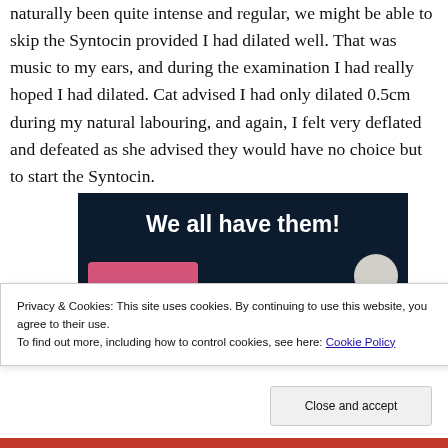naturally been quite intense and regular, we might be able to skip the Syntocin provided I had dilated well. That was music to my ears, and during the examination I had really hoped I had dilated. Cat advised I had only dilated 0.5cm during my natural labouring, and again, I felt very deflated and defeated as she advised they would have no choice but to start the Syntocin.
[Figure (illustration): Dark navy banner image with bold white text reading 'We all have them!' and a pink button and a light grey circle in the lower portion.]
Privacy & Cookies: This site uses cookies. By continuing to use this website, you agree to their use.
To find out more, including how to control cookies, see here: Cookie Policy
Close and accept